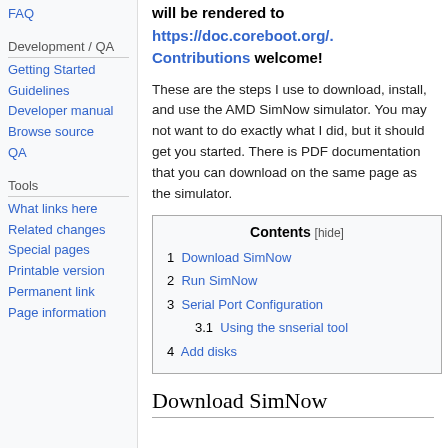FAQ
Development / QA
Getting Started Guidelines
Developer manual
Browse source
QA
Tools
What links here
Related changes
Special pages
Printable version
Permanent link
Page information
will be rendered to https://doc.coreboot.org/. Contributions welcome!
These are the steps I use to download, install, and use the AMD SimNow simulator. You may not want to do exactly what I did, but it should get you started. There is PDF documentation that you can download on the same page as the simulator.
| Contents [hide] |
| --- |
| 1  Download SimNow |
| 2  Run SimNow |
| 3  Serial Port Configuration |
| 3.1  Using the snserial tool |
| 4  Add disks |
Download SimNow